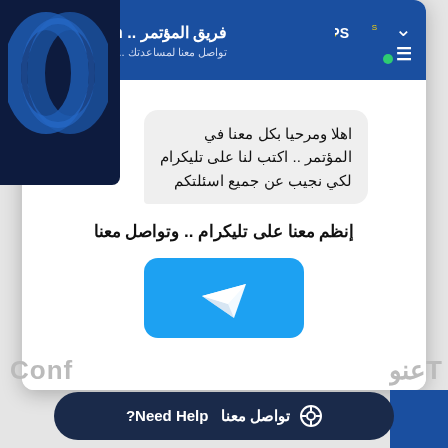[Figure (screenshot): Screenshot of a chat widget/popup for IICPS Team conference support. The popup shows a header with IICPS logo, title 'فريق المؤتمر .. IICPS Team' and subtitle 'تواصل معنا لمساعدتك .. Message to Us..', a green online indicator, and a message bubble in Arabic inviting users to write on Telegram. Below the bubble is bold Arabic text 'إنظم معنا على تليكرام .. وتواصل معنا' and a Telegram button. At the bottom is a dark rounded bar with 'تواصل معنا Need Help?' text.]